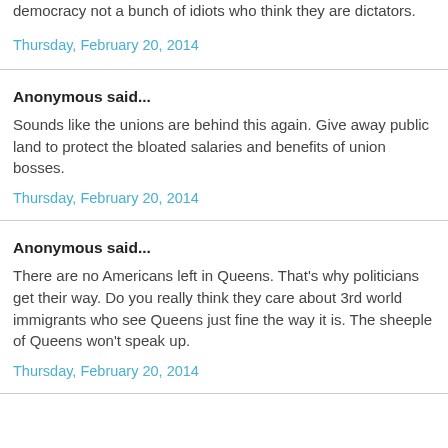democracy not a bunch of idiots who think they are dictators.
Thursday, February 20, 2014
Anonymous said...
Sounds like the unions are behind this again. Give away public land to protect the bloated salaries and benefits of union bosses.
Thursday, February 20, 2014
Anonymous said...
There are no Americans left in Queens. That's why politicians get their way. Do you really think they care about 3rd world immigrants who see Queens just fine the way it is. The sheeple of Queens won't speak up.
Thursday, February 20, 2014